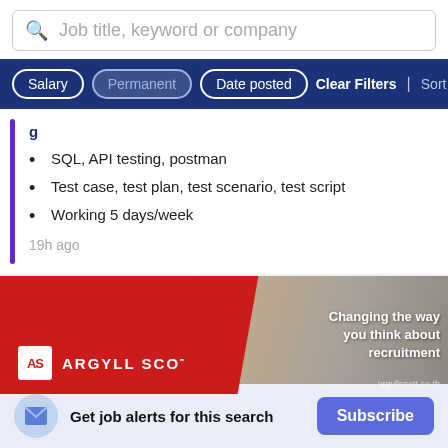[Figure (screenshot): Search bar with placeholder text 'Job title, keyword or company' and a search icon]
[Figure (screenshot): Filter bar with buttons: Salary, Permanent, Date posted, Clear Filters, Sort By Rel]
SQL, API testing, postman
Test case, test plan, test scenario, test script
Working 5 days/week
19h ago
[Figure (photo): Argyll Scott recruitment agency advertisement banner. Red background with diagonal cut, photo of woman on phone, text: 'Changing the way you think about recruitment', logo 'AS ARGYLL SCOTT', website argyllscott.co.th]
Get job alerts for this search